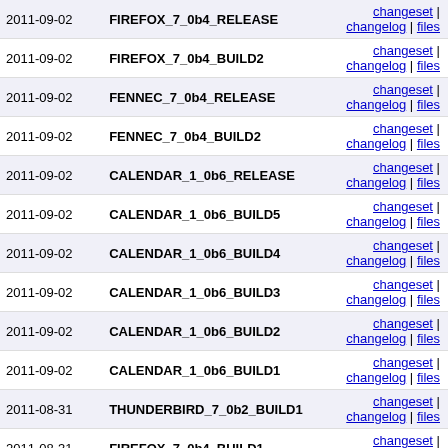| Date | Tag | Links |
| --- | --- | --- |
| 2011-09-02 | FIREFOX_7_0b4_RELEASE | changeset | changelog | files |
| 2011-09-02 | FIREFOX_7_0b4_BUILD2 | changeset | changelog | files |
| 2011-09-02 | FENNEC_7_0b4_RELEASE | changeset | changelog | files |
| 2011-09-02 | FENNEC_7_0b4_BUILD2 | changeset | changelog | files |
| 2011-09-02 | CALENDAR_1_0b6_RELEASE | changeset | changelog | files |
| 2011-09-02 | CALENDAR_1_0b6_BUILD5 | changeset | changelog | files |
| 2011-09-02 | CALENDAR_1_0b6_BUILD4 | changeset | changelog | files |
| 2011-09-02 | CALENDAR_1_0b6_BUILD3 | changeset | changelog | files |
| 2011-09-02 | CALENDAR_1_0b6_BUILD2 | changeset | changelog | files |
| 2011-09-02 | CALENDAR_1_0b6_BUILD1 | changeset | changelog | files |
| 2011-08-31 | THUNDERBIRD_7_0b2_BUILD1 | changeset | changelog | files |
| 2011-08-31 | FIREFOX_7_0b4_BUILD1 | changeset | changelog | files |
| 2011-08-31 | FENNEC_7_0b4_BUILD1 | changeset | changelog | files |
| 2011-08-30 | FIREFOX_7_0b3_RELEASE | changeset | changelog | files |
| 2011-08-30 | FIREFOX_7_0b3_BUILD1 | changeset | changelog | files |
| 2011-08-30 | FENNEC_7_0b3_RELEASE | changeset | changelog | files |
| 2011-08-30 | FENNEC_7_0b3_BUILD1 | changeset | changelog | files |
| 2011-08-24 | FIREFOX_7_0b2_RELEASE | changeset |